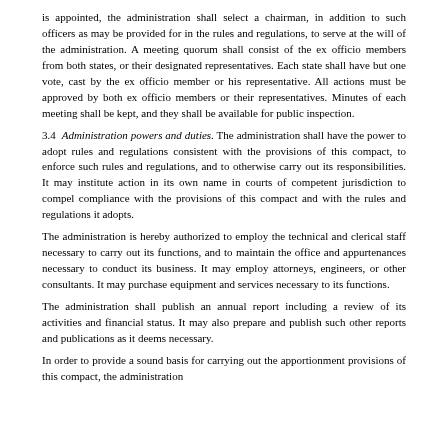is appointed, the administration shall select a chairman, in addition to such officers as may be provided for in the rules and regulations, to serve at the will of the administration. A meeting quorum shall consist of the ex officio members from both states, or their designated representatives. Each state shall have but one vote, cast by the ex officio member or his representative. All actions must be approved by both ex officio members or their representatives. Minutes of each meeting shall be kept, and they shall be available for public inspection.
3.4 Administration powers and duties. The administration shall have the power to adopt rules and regulations consistent with the provisions of this compact, to enforce such rules and regulations, and to otherwise carry out its responsibilities. It may institute action in its own name in courts of competent jurisdiction to compel compliance with the provisions of this compact and with the rules and regulations it adopts.
The administration is hereby authorized to employ the technical and clerical staff necessary to carry out its functions, and to maintain the office and appurtenances necessary to conduct its business. It may employ attorneys, engineers, or other consultants. It may purchase equipment and services necessary to its functions.
The administration shall publish an annual report including a review of its activities and financial status. It may also prepare and publish such other reports and publications as it deems necessary.
In order to provide a sound basis for carrying out the apportionment provisions of this compact, the administration